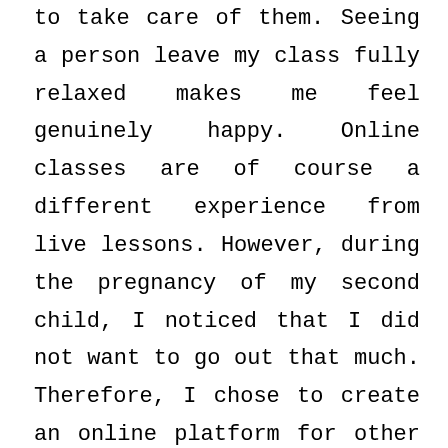to take care of them. Seeing a person leave my class fully relaxed makes me feel genuinely happy. Online classes are of course a different experience from live lessons. However, during the pregnancy of my second child, I noticed that I did not want to go out that much. Therefore, I chose to create an online platform for other mama's and mama's to be.

During my classes, I love you to observe and let you connect with yourself. That is what I acknowledged in my own practice. Over the years I have learned more about myself and